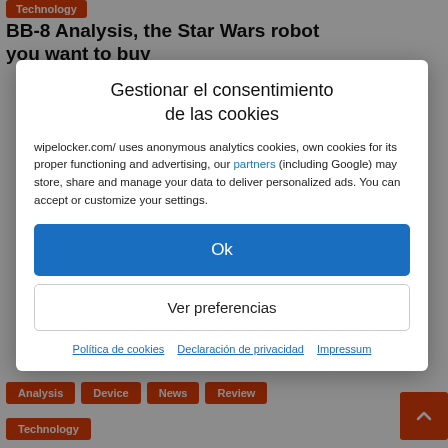[Figure (screenshot): Background article page with Technology badge, article title BB-8 Analysis, the Star Wars robot you want to buy, and tag buttons: Analysis, Device, News, Review, Technology]
Gestionar el consentimiento de las cookies
wipelocker.com/ uses anonymous analytics cookies, own cookies for its proper functioning and advertising, our partners (including Google) may store, share and manage your data to deliver personalized ads. You can accept or customize your settings.
Ok
Ver preferencias
Política de cookies   Declaración de privacidad   Impressum